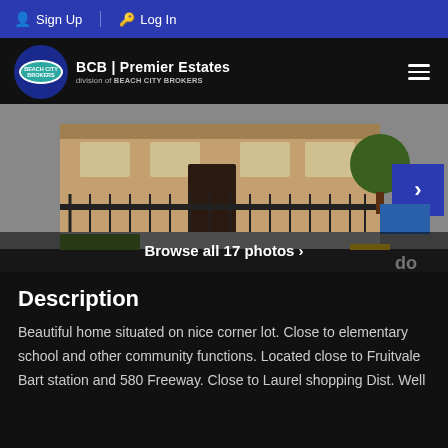Sign Up  Log In
[Figure (logo): Beach City Brokers logo with teal oval and white text inside a dark blue circle]
BCB | Premier Estates
division of BEACH CITY BROKERS
[Figure (photo): Exterior photo of a residential property with black iron fence, sidewalk, and a blue navigation arrow button on the right. Text overlay: Browse all 17 photos >]
Description
Beautiful home situated on nice corner lot. Close to elementary school and other community functions. Located close to Fruitvale Bart station and 580 Freeway. Close to Laurel shopping Dist. Well